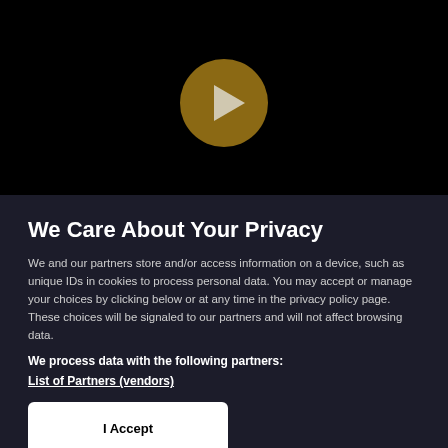[Figure (other): Black video player area with a golden/brown circular play button in the center containing a white triangle pointing right]
We Care About Your Privacy
We and our partners store and/or access information on a device, such as unique IDs in cookies to process personal data. You may accept or manage your choices by clicking below or at any time in the privacy policy page. These choices will be signaled to our partners and will not affect browsing data.
We process data with the following partners:
List of Partners (vendors)
I Accept
Manage Cookies